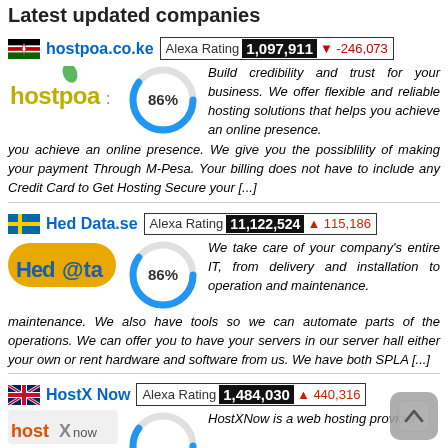Latest updated companies
hostpoa.co.ke — Alexa Rating 1,097,911 ▼-246,073 — Build credibility and trust for your business. We offer flexible and reliable hosting solutions that helps you achieve an online presence. We give you the possiblility of making your payment Through M-Pesa. Your billing does not have to include any Credit Card to Get Hosting Secure your [...]
Hed Data.se — Alexa Rating 11,122,524 ▲115,186 — We take care of your company's entire IT, from delivery and installation to operation and maintenance. We also have tools so we can automate parts of the operations. We can offer you to have your servers in our server hall either your own or rent hardware and software from us. We have both SPLA [...]
HostX Now — Alexa Rating 1,484,030 ▲440,316 — HostXNow is a web hosting provider